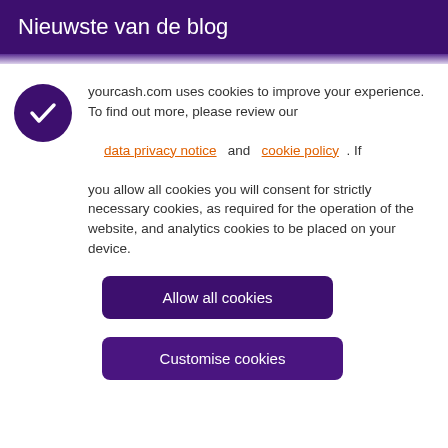Nieuwste van de blog
yourcash.com uses cookies to improve your experience.
To find out more, please review our
data privacy notice and cookie policy . If you allow all cookies you will consent for strictly necessary cookies, as required for the operation of the website, and analytics cookies to be placed on your device.
Allow all cookies
Customise cookies